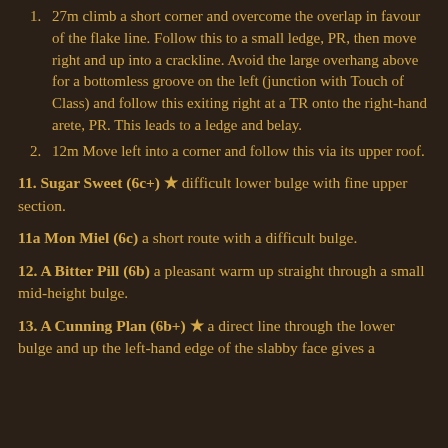27m climb a short corner and overcome the overlap in favour of the flake line. Follow this to a small ledge, PR, then move right and up into a crackline. Avoid the large overhang above for a bottomless groove on the left (junction with Touch of Class) and follow this exiting right at a TR onto the right-hand arete, PR. This leads to a ledge and belay.
12m Move left into a corner and follow this via its upper roof.
11. Sugar Sweet (6c+) ★ difficult lower bulge with fine upper section.
11a Mon Miel (6c) a short route with a difficult bulge.
12. A Bitter Pill (6b) a pleasant warm up straight through a small mid-height bulge.
13. A Cunning Plan (6b+) ★ a direct line through the lower bulge and up the left-hand edge of the slabby face gives a